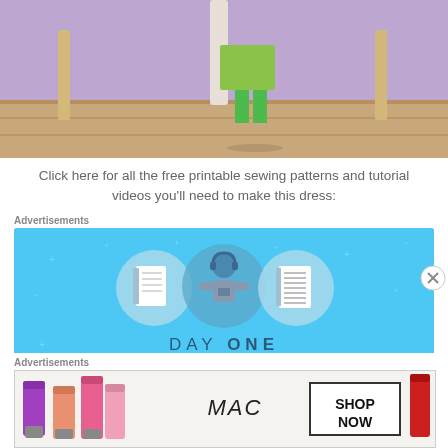[Figure (photo): Partial photo showing a person in a green dress and boots with wooden furniture legs and purple curtain background on wooden floor]
Click here for all the free printable sewing patterns and tutorial videos you'll need to make this dress:
Advertisements
[Figure (illustration): Day One journaling app advertisement on blue background showing a person with notebook icons and text 'DAY ONE - The only journaling app you'll ever need.']
Advertisements
[Figure (illustration): MAC cosmetics advertisement showing lipsticks and MAC logo with SHOP NOW button]